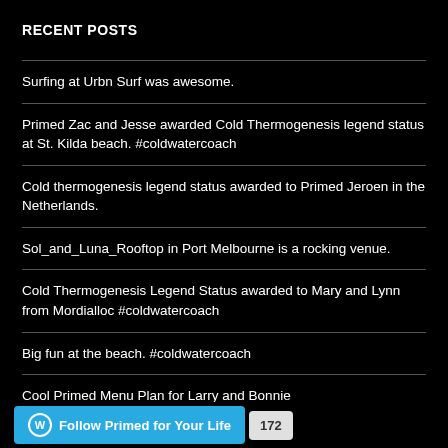RECENT POSTS
Surfing at Urbn Surf was awesome.
Primed Zac and Jesse awarded Cold Thermogenesis legend status at St. Kilda beach. #coldwatercoach
Cold thermogenesis legend status awarded to Primed Jeroen in the Netherlands.
Sol_and_Luna_Rooftop in Port Melbourne is a rocking venue.
Cold Thermogenesis Legend Status awarded to Mary and Lynn from Mordialloc #coldwatercoach
Big fun at the beach. #coldwatercoach
Cool Primed Menu Plan for Larry and Bonnie
Follow Primed for Your Life  172